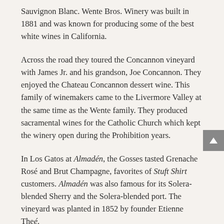Sauvignon Blanc. Wente Bros. Winery was built in 1881 and was known for producing some of the best white wines in California.
Across the road they toured the Concannon vineyard with James Jr. and his grandson, Joe Concannon. They enjoyed the Chateau Concannon dessert wine. This family of winemakers came to the Livermore Valley at the same time as the Wente family. They produced sacramental wines for the Catholic Church which kept the winery open during the Prohibition years.
In Los Gatos at Almadén, the Gosses tasted Grenache Rosé and Brut Champagne, favorites of Stuft Shirt customers. Almadén was also famous for its Solera-blended Sherry and the Solera-blended port. The vineyard was planted in 1852 by founder Etienne Theé.
In Napa, the Gosses first visited Inglenook Winery whose red wines were considered among the finest in California, particularly their rare variety of...